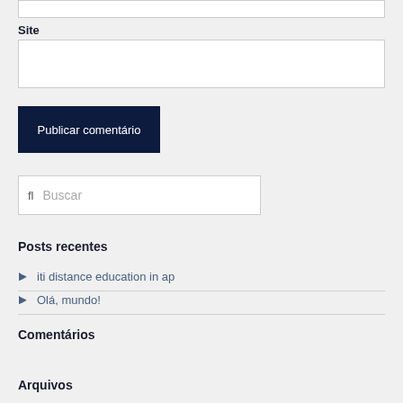Site
Publicar comentário
fl  Buscar
Posts recentes
iti distance education in ap
Olá, mundo!
Comentários
Arquivos